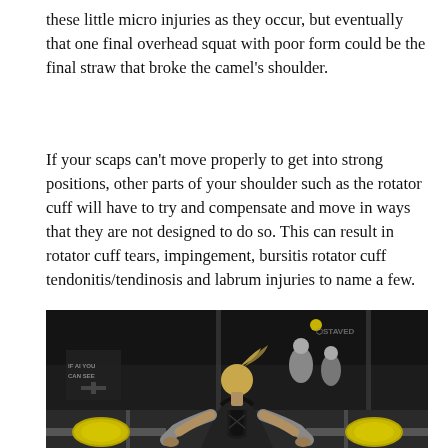these little micro injuries as they occur, but eventually that one final overhead squat with poor form could be the final straw that broke the camel's shoulder.
If your scaps can't move properly to get into strong positions, other parts of your shoulder such as the rotator cuff will have to try and compensate and move in ways that they are not designed to do so. This can result in rotator cuff tears, impingement, bursitis rotator cuff tendonitis/tendinosis and labrum injuries to name a few.
[Figure (photo): A female athlete with tattoos and blonde hair in a ponytail, wearing a black sports top, bent over a barbell with large weight plates in a gym/CrossFit setting. Other people and equipment are visible in the background. A STAVED watermark is visible in the upper right.]